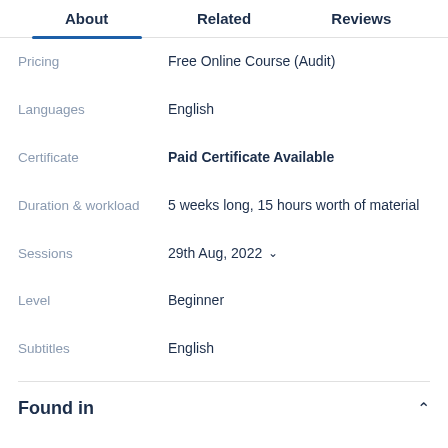About | Related | Reviews
| Label | Value |
| --- | --- |
| Pricing | Free Online Course (Audit) |
| Languages | English |
| Certificate | Paid Certificate Available |
| Duration & workload | 5 weeks long, 15 hours worth of material |
| Sessions | 29th Aug, 2022 |
| Level | Beginner |
| Subtitles | English |
Found in